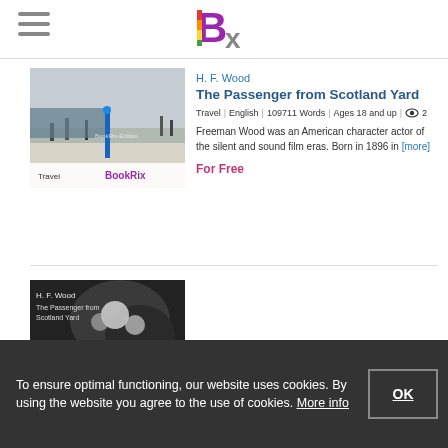BookRix logo and navigation
[Figure (screenshot): Book cover for The Passenger from Scotland Yard - travel themed with train station image]
H. F. Wood
The Passenger from Scotland Yard
Travel | English | 109711 Words | Ages 18 and up | 👁 2
Freeman Wood was an American character actor of the silent and sound film eras. Born in 1896 in [more]
For Free
[Figure (screenshot): Second book cover for The Passenger from Scotland Yard - crime themed dark cover]
To ensure optimal functioning, our website uses cookies. By using the website you agree to the use of cookies. More info